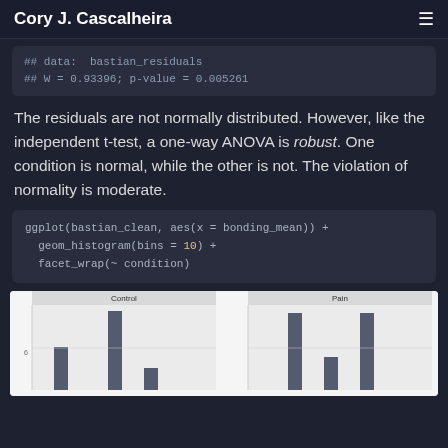Cory J. Cascalheira
## data:  bastian_residuals
## W = 0.93396; p-value = 0.005261
The residuals are not normally distributed. However, like the independent t-test, a one-way ANOVA is robust. One condition is normal, while the other is not. The violation of normality is moderate.
ggplot(bastian_clean, aes(x = bonding_mean)) +
  geom_histogram(bins = 10) +
  facet_wrap(~ condition)
[Figure (histogram): Two histograms side by side: Control condition and Pain condition, showing distribution of bonding_mean values. Y-axis label visible: 6. Both panels show bar distributions.]